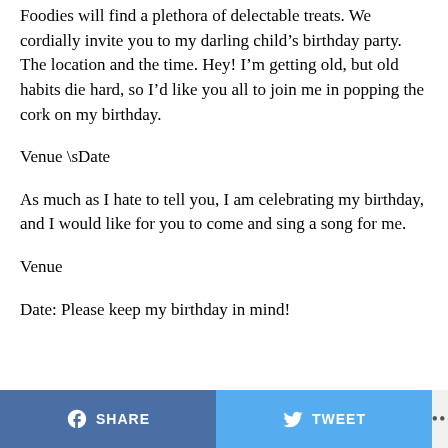Foodies will find a plethora of delectable treats. We cordially invite you to my darling child’s birthday party. The location and the time. Hey! I’m getting old, but old habits die hard, so I’d like you all to join me in popping the cork on my birthday.
Venue \sDate
As much as I hate to tell you, I am celebrating my birthday, and I would like for you to come and sing a song for me.
Venue
Date: Please keep my birthday in mind!
SHARE  TWEET  ...